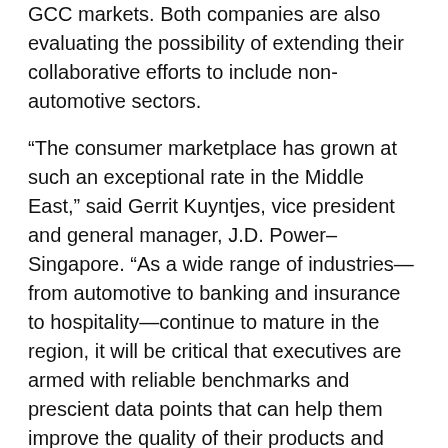GCC markets. Both companies are also evaluating the possibility of extending their collaborative efforts to include non-automotive sectors.
“The consumer marketplace has grown at such an exceptional rate in the Middle East,” said Gerrit Kuyntjes, vice president and general manager, J.D. Power–Singapore. “As a wide range of industries—from automotive to banking and insurance to hospitality—continue to mature in the region, it will be critical that executives are armed with reliable benchmarks and prescient data points that can help them improve the quality of their products and services.”
“We are very proud to have an opportunity to be associated with a company so widely recognized and respected in the automotive industry as J.D. Power,” said Amin Kadrie, chairman and CEO of Skelmore Consulting Group. “Coupled with Skelmore’s experience in the region